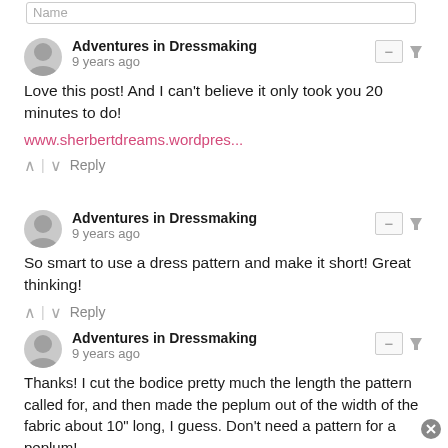Name
Adventures in Dressmaking
9 years ago
Love this post! And I can't believe it only took you 20 minutes to do!

www.sherbertdreams.wordpres...
Reply
Adventures in Dressmaking
9 years ago
So smart to use a dress pattern and make it short! Great thinking!
Reply
Adventures in Dressmaking
9 years ago
Thanks! I cut the bodice pretty much the length the pattern called for, and then made the peplum out of the width of the fabric about 10" long, I guess. Don't need a pattern for a peplum!